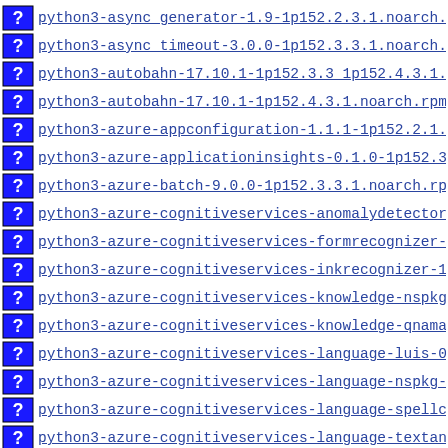python3-async_generator-1.9-1p152.2.3.1.noarch.rpm
python3-async_timeout-3.0.0-1p152.3.3.1.noarch.rpm
python3-autobahn-17.10.1-1p152.3.3 1p152.4.3.1.noarch
python3-autobahn-17.10.1-1p152.4.3.1.noarch.rpm
python3-azure-appconfiguration-1.1.1-1p152.2.1.noarch
python3-azure-applicationinsights-0.1.0-1p152.3.3.1.n
python3-azure-batch-9.0.0-1p152.3.3.1.noarch.rpm
python3-azure-cognitiveservices-anomalydetector-0.3.0
python3-azure-cognitiveservices-formrecognizer-0.1.1-
python3-azure-cognitiveservices-inkrecognizer-1.0.0b1
python3-azure-cognitiveservices-knowledge-nspkg-3.0.0
python3-azure-cognitiveservices-knowledge-qnamaker-0.
python3-azure-cognitiveservices-language-luis-0.7.0-1
python3-azure-cognitiveservices-language-nspkg-3.0.1-
python3-azure-cognitiveservices-language-spellcheck-2
python3-azure-cognitiveservices-language-textanalytic
python3-azure-cognitiveservices-nspkg-3.0.1-1p152.5.3